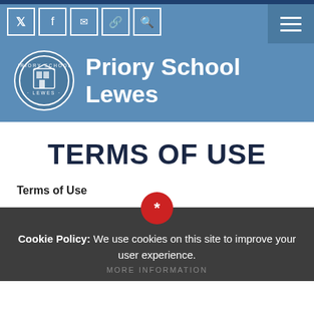[Figure (screenshot): Priory School Lewes website header with school logo, school name, social media icons (Twitter, Facebook, email, link, search), and hamburger menu]
TERMS OF USE
Terms of Use
Cookie Policy: We use cookies on this site to improve your user experience.
MORE INFORMATION